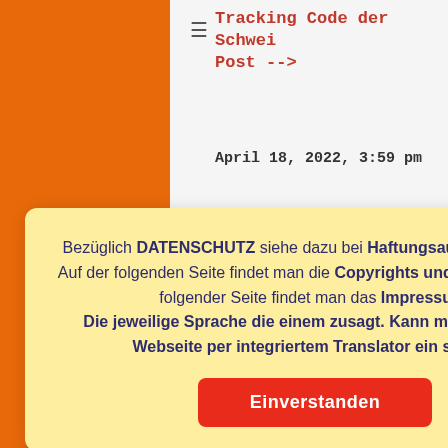Tracking Code der Schweizer Post -->
April 18, 2022, 3:59 pm
process
ZERLAND
8, 2022.
59 pm
AND
58 pm
Facility
Bezüglich DATENSCHUTZ siehe dazu bei Haftungsausschluss nach. Auf der folgenden Seite findet man die Copyrights und AGBs. Auf nach folgender Seite findet man das Impressum.
Die jeweilige Sprache die einem zusagt. Kann man auf dieser Webseite per integriertem Translator ein stellen.
Einverstanden
April 15, 2022, 10:32 am
Departed
ZURICH, SWITZERLAND